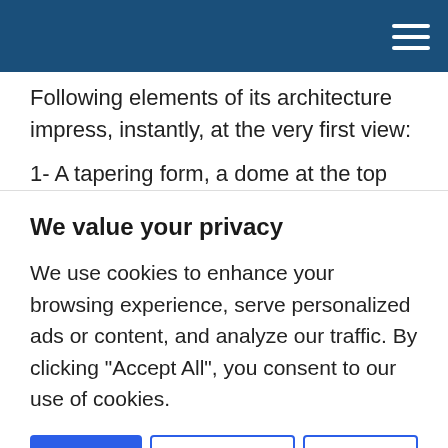Following elements of its architecture impress, instantly, at the very first view:
1- A tapering form, a dome at the top and a finial above it.
We value your privacy
We use cookies to enhance your browsing experience, serve personalized ads or content, and analyze our traffic. By clicking "Accept All", you consent to our use of cookies.
Accept All   Customize ▼   Reject All